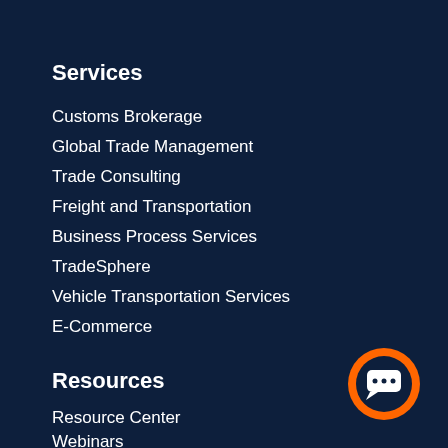Services
Customs Brokerage
Global Trade Management
Trade Consulting
Freight and Transportation
Business Process Services
TradeSphere
Vehicle Transportation Services
E-Commerce
Resources
Resource Center
Webinars
Forms
Subscribe
[Figure (illustration): Orange circle with white chat bubble icon (live chat button)]